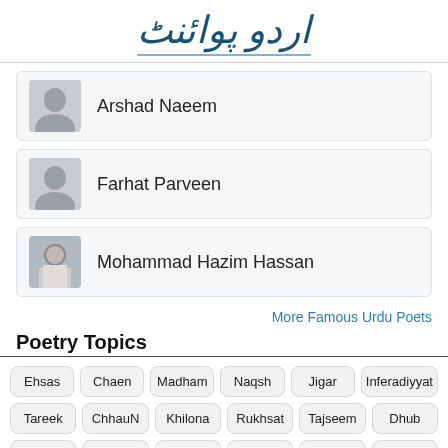اردو پوائنٹ
Arshad Naeem
Farhat Parveen
Mohammad Hazim Hassan
More Famous Urdu Poets
Poetry Topics
Ehsas
Chaen
Madham
Naqsh
Jigar
Inferadiyyat
Tareek
ChhauN
Khilona
Rukhsat
Tajseem
Dhub
Ruswai
Ghussay
Gham
Sanam
Tauqeer
Judai